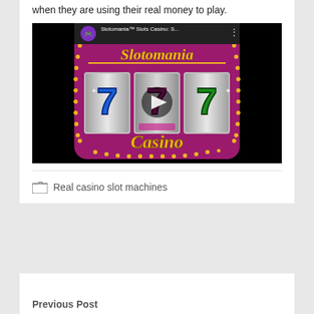when they are using their real money to play.
[Figure (screenshot): YouTube video thumbnail for Slotomania Slots Casino showing the app logo with three 7s on slot machine reels and a play button in the center]
Real casino slot machines
Previous Post